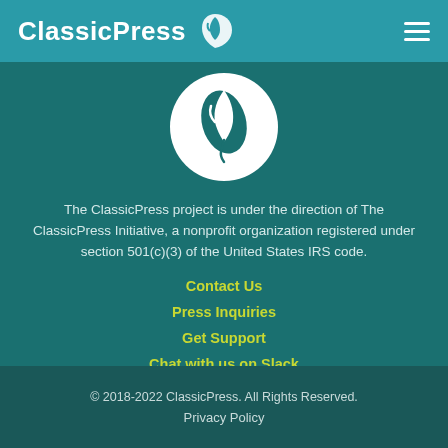ClassicPress
[Figure (logo): ClassicPress feather logo in white circle on teal background]
The ClassicPress project is under the direction of The ClassicPress Initiative, a nonprofit organization registered under section 501(c)(3) of the United States IRS code.
Contact Us
Press Inquiries
Get Support
Chat with us on Slack
Start or Vote on a Petition
© 2018-2022 ClassicPress. All Rights Reserved.
Privacy Policy